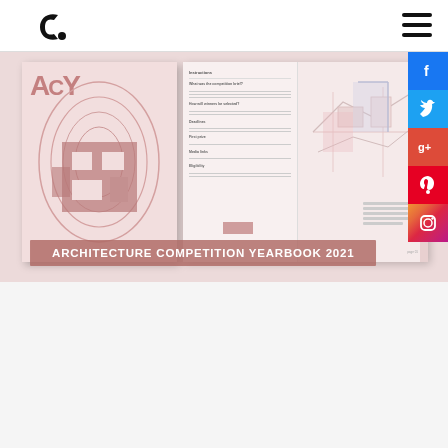[Figure (logo): Archdaily-style logo: stylized 'C' with dot, black on white]
[Figure (illustration): Hamburger menu icon (three horizontal lines) top right]
[Figure (photo): Architecture Competition Yearbook 2021 - spread showing book cover (pink/rose tones with architectural floor plan) on left and interior pages with text and architectural sketches on right]
ARCHITECTURE COMPETITION YEARBOOK 2021
[Figure (infographic): Social media sidebar: Facebook (blue), Twitter (light blue), Google+ (red), Pinterest (red), Instagram (gradient) icons stacked vertically on right edge]